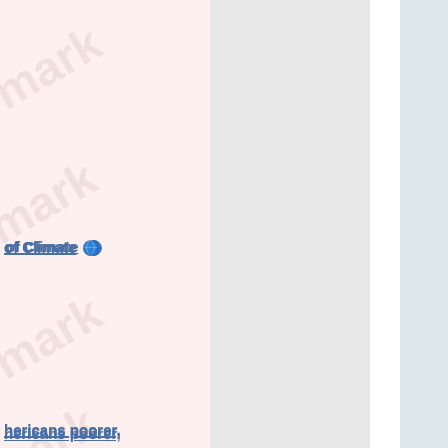of Climate
hericans poorer,
d to
um Wage
-down
s his